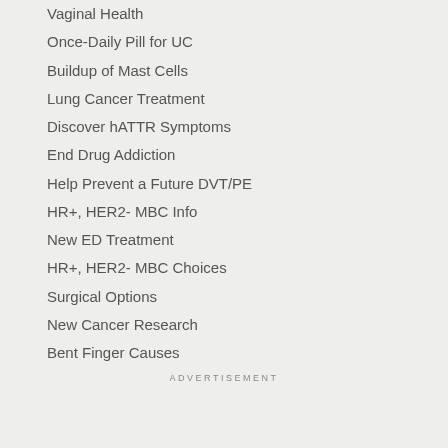Vaginal Health
Once-Daily Pill for UC
Buildup of Mast Cells
Lung Cancer Treatment
Discover hATTR Symptoms
End Drug Addiction
Help Prevent a Future DVT/PE
HR+, HER2- MBC Info
New ED Treatment
HR+, HER2- MBC Choices
Surgical Options
New Cancer Research
Bent Finger Causes
ADVERTISEMENT